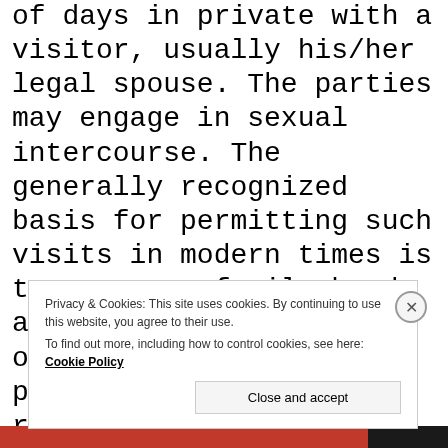of days in private with a visitor, usually his/her legal spouse. The parties may engage in sexual intercourse. The generally recognized basis for permitting such visits in modern times is to preserve family bonds and increase the chances of success for a prisoner's eventual return to life after release from prison. Additionally, they serve as an incentive to motivate inmates to comply
Privacy & Cookies: This site uses cookies. By continuing to use this website, you agree to their use. To find out more, including how to control cookies, see here: Cookie Policy
Close and accept